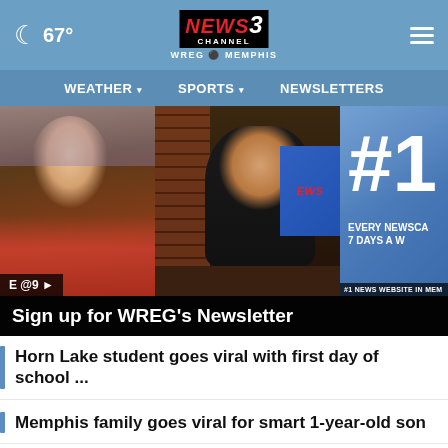67° NEWS CHANNEL 3 WREG MEMPHIS
WEATHER ▾ SPORTS ▾ NEWSLETTERS
[Figure (screenshot): TV studio scene with news anchors; left panel shows a blonde woman in red, center shows a smiling male anchor in dark suit, right panel shows #1 Every Newscast 7 Days a Week promotional slide. Bottom left overlay: E@9. Bottom right overlay: #1 news website in Memphis.]
Sign up for WREG's Newsletter
Horn Lake student goes viral with first day of school ...
Memphis family goes viral for smart 1-year-old son